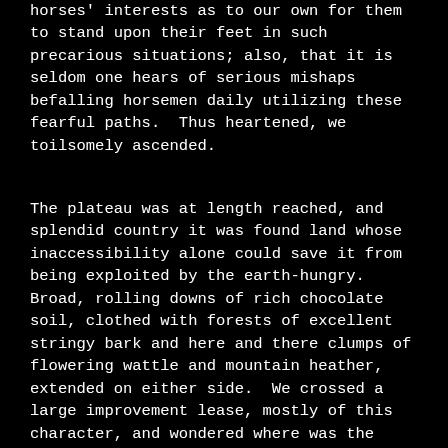horses' interests as to our own for them to stand upon their feet in such precarious situations; also, that it is seldom one hears of serious mishaps befalling horsemen daily utilizing these fearful paths.  Thus heartened, we toilsomely ascended.
The plateau was at length reached, and splendid country it was found land whose inaccessibility alone could save it from being exploited by the earth-hungry.  Broad, rolling downs of rich chocolate soil, clothed with forests of excellent stringy bark and here and there clumps of flowering wattle and mountain heather, extended on either side.  We crossed a large improvement lease, mostly of this character, and wondered where was the wisdom in locking up under such tenure for 28 years' territory so naturally favored.  The whole range top,